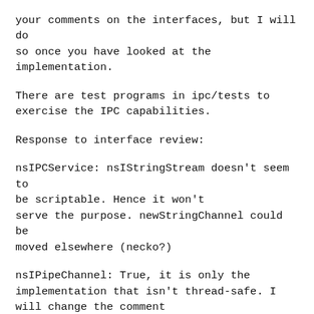your comments on the interfaces, but I will do so once you have looked at the implementation.
There are test programs in ipc/tests to exercise the IPC capabilities.
Response to interface review:
nsIPCService: nsIStringStream doesn't seem to be scriptable. Hence it won't serve the purpose. newStringChannel could be moved elsewhere (necko?)
nsIPipeChannel: True, it is only the implementation that isn't thread-safe. I will change the comment
nsIProcessInfo: I don't think it should be merged with nsIProcess, although it